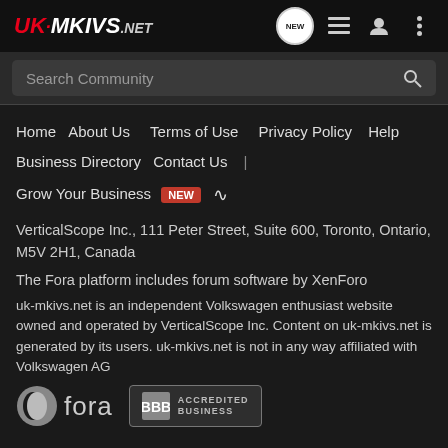UK-MKIVS.NET
Search Community
Home
About Us
Terms of Use
Privacy Policy
Help
Business Directory
Contact Us
Grow Your Business NEW
VerticalScope Inc., 111 Peter Street, Suite 600, Toronto, Ontario, M5V 2H1, Canada
The Fora platform includes forum software by XenForo
uk-mkivs.net is an independent Volkswagen enthusiast website owned and operated by VerticalScope Inc. Content on uk-mkivs.net is generated by its users. uk-mkivs.net is not in any way affiliated with Volkswagen AG
[Figure (logo): Fora logo - circular icon with 'fora' text]
[Figure (logo): BBB Accredited Business badge]